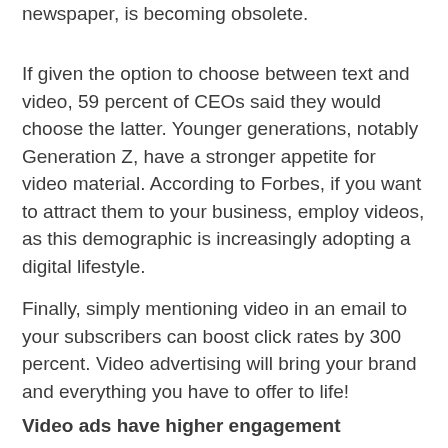newspaper, is becoming obsolete.
If given the option to choose between text and video, 59 percent of CEOs said they would choose the latter. Younger generations, notably Generation Z, have a stronger appetite for video material. According to Forbes, if you want to attract them to your business, employ videos, as this demographic is increasingly adopting a digital lifestyle.
Finally, simply mentioning video in an email to your subscribers can boost click rates by 300 percent. Video advertising will bring your brand and everything you have to offer to life!
Video ads have higher engagement